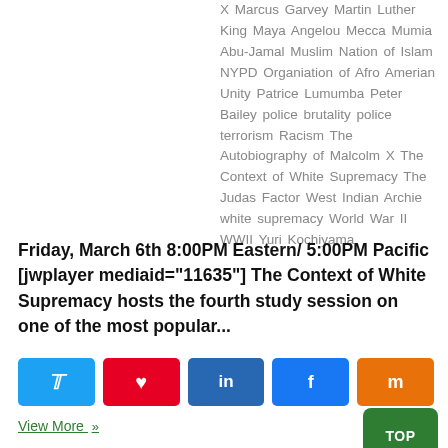X Marcus Garvey Martin Luther King Maya Angelou Mecca Mumia Abu-Jamal Muslim Nation of Islam NYPD Organiation of Afro Amerian Unity Patrice Lumumba Peter Bailey police brutality police terrorism Racism The Autobiography of Malcolm X The Context of White Supremacy The Judas Factor West Indian Archie white supremacy World War II WWII Yuri Kochiyama
Friday, March 6th 8:00PM Eastern/ 5:00PM Pacific [jwplayer mediaid="11635"] The Context of White Supremacy hosts the fourth study session on one of the most popular...
[Figure (other): Social sharing buttons: Twitter (blue), Pinterest (red), LinkedIn (dark blue), Facebook (blue), Mix (orange)]
View More »